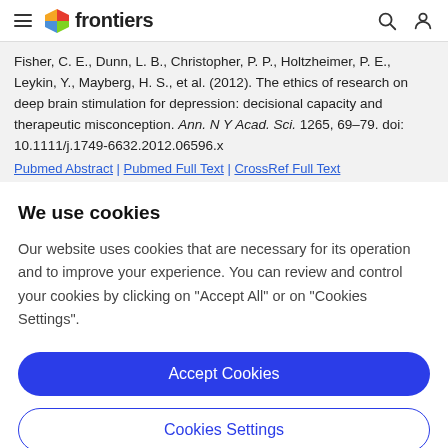frontiers
Fisher, C. E., Dunn, L. B., Christopher, P. P., Holtzheimer, P. E., Leykin, Y., Mayberg, H. S., et al. (2012). The ethics of research on deep brain stimulation for depression: decisional capacity and therapeutic misconception. Ann. N Y Acad. Sci. 1265, 69–79. doi: 10.1111/j.1749-6632.2012.06596.x
We use cookies
Our website uses cookies that are necessary for its operation and to improve your experience. You can review and control your cookies by clicking on "Accept All" or on "Cookies Settings".
Accept Cookies
Cookies Settings